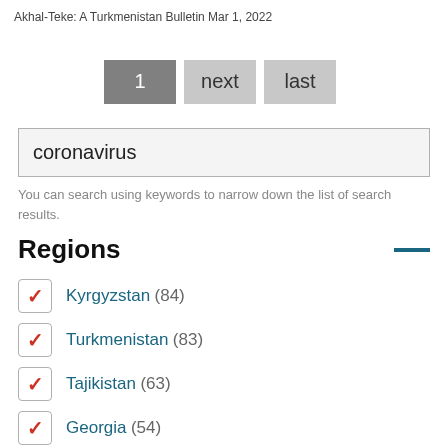Akhal-Teke: A Turkmenistan Bulletin Mar 1, 2022
[Figure (other): Pagination controls showing buttons: 1 (active/dark), next, last]
coronavirus
You can search using keywords to narrow down the list of search results.
Regions
Kyrgyzstan (84)
Turkmenistan (83)
Tajikistan (63)
Georgia (54)